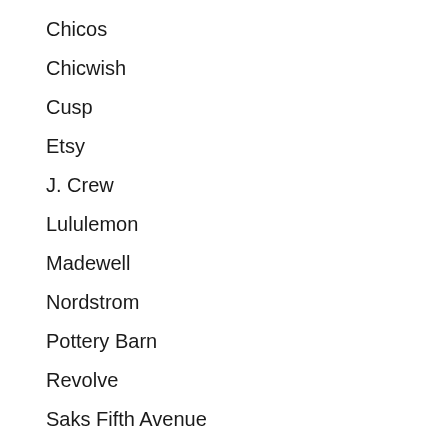Chicos
Chicwish
Cusp
Etsy
J. Crew
Lululemon
Madewell
Nordstrom
Pottery Barn
Revolve
Saks Fifth Avenue
Shopbop
Soma